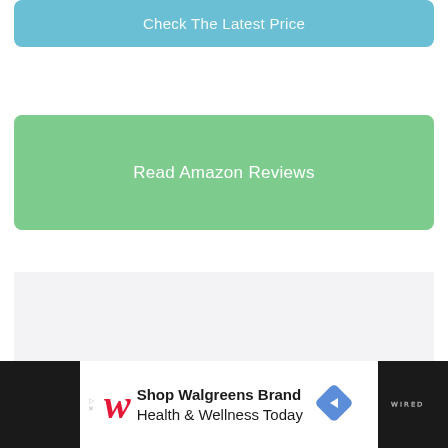[Figure (other): Blue rounded button partially visible at top with text 'Check The Latest Price']
[Figure (other): Green rounded button with white text 'Read Amazon Reviews']
[Figure (other): Light gray rectangular placeholder box]
[Figure (other): Advertisement banner for Walgreens Brand Health & Wellness Today with Walgreens logo, navigation arrow icon, and Wired logo on dark background]